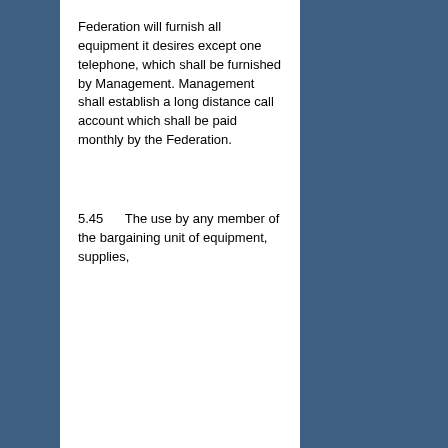Federation will furnish all equipment it desires except one telephone, which shall be furnished by Management. Management shall establish a long distance call account which shall be paid monthly by the Federation.
5.45      The use by any member of the bargaining unit of equipment, supplies,